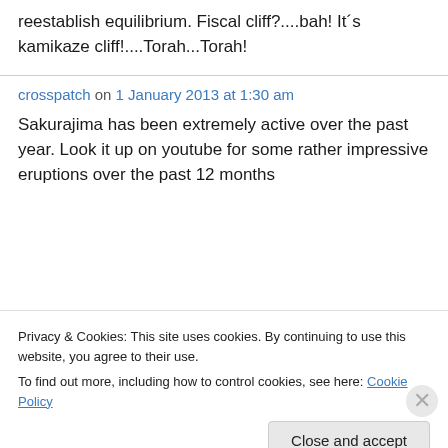reestablish equilibrium. Fiscal cliff?....bah! It´s kamikaze cliff!....Torah...Torah!
crosspatch on 1 January 2013 at 1:30 am
Sakurajima has been extremely active over the past year. Look it up on youtube for some rather impressive eruptions over the past 12 months
Privacy & Cookies: This site uses cookies. By continuing to use this website, you agree to their use.
To find out more, including how to control cookies, see here: Cookie Policy
Close and accept